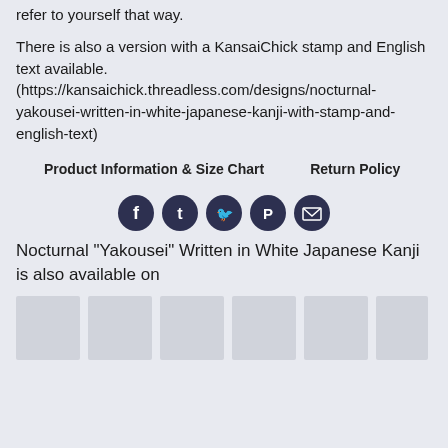refer to yourself that way.
There is also a version with a KansaiChick stamp and English text available.(https://kansaichick.threadless.com/designs/nocturnal-yakousei-written-in-white-japanese-kanji-with-stamp-and-english-text)
Product Information & Size Chart    Return Policy
[Figure (infographic): Social media share icons: Facebook, Tumblr, Twitter, Pinterest, Email — dark circular buttons]
Nocturnal "Yakousei" Written in White Japanese Kanji is also available on
[Figure (photo): Six gray placeholder thumbnail images in a row]